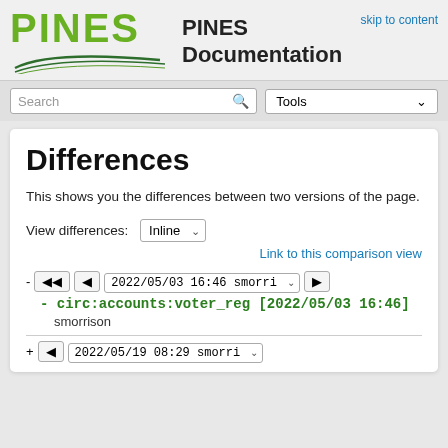PINES Documentation
skip to content
Differences
This shows you the differences between two versions of the page.
View differences: Inline
Link to this comparison view
- 2022/05/03 16:46 smorri▾
- circ:accounts:voter_reg [2022/05/03 16:46]
smorrison
+ 2022/05/19 08:29 smorri▾